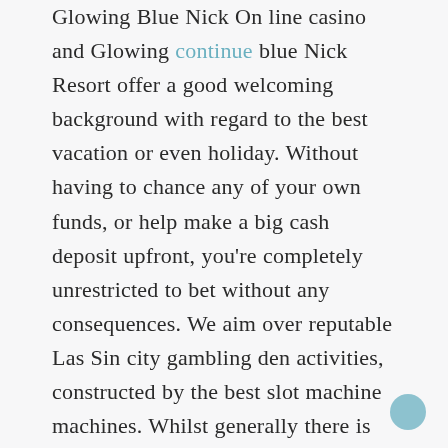Glowing Blue Nick On line casino and Glowing continue blue Nick Resort offer a good welcoming background with regard to the best vacation or even holiday. Without having to chance any of your own funds, or help make a big cash deposit upfront, you're completely unrestricted to bet without any consequences. We aim over reputable Las Sin city gambling den activities, constructed by the best slot machine machines. Whilst generally there is certainly